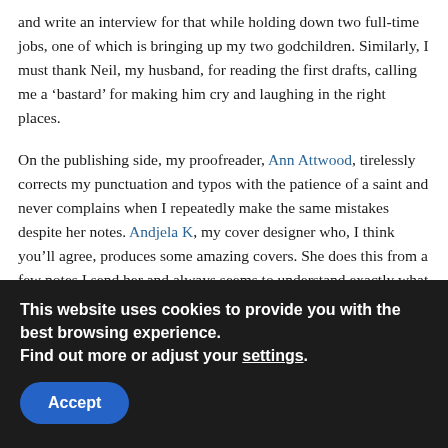and write an interview for that while holding down two full-time jobs, one of which is bringing up my two godchildren. Similarly, I must thank Neil, my husband, for reading the first drafts, calling me a 'bastard' for making him cry and laughing in the right places.
On the publishing side, my proofreader, Ann Attwood, tirelessly corrects my punctuation and typos with the patience of a saint and never complains when I repeatedly make the same mistakes despite her notes. Andjela K, my cover designer who, I think you'll agree, produces some amazing covers. She does this from a few notes I send her and always seems to understand exactly what I am after. For 'Inheritance', I would like to thank Khayyam Akhtar, who produced an accurate map of the route two
This website uses cookies to provide you with the best browsing experience.
Find out more or adjust your settings.